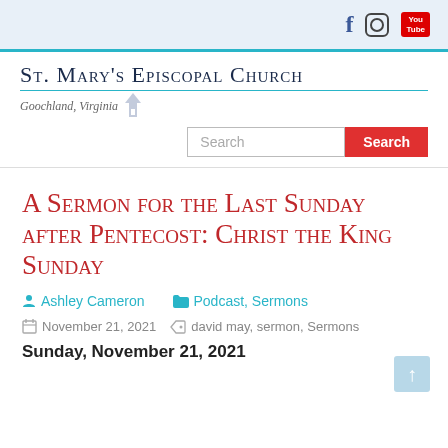St. Mary's Episcopal Church — Goochland, Virginia
A Sermon for the Last Sunday after Pentecost: Christ the King Sunday
Ashley Cameron   Podcast, Sermons
November 21, 2021   david may, sermon, Sermons
Sunday, November 21, 2021